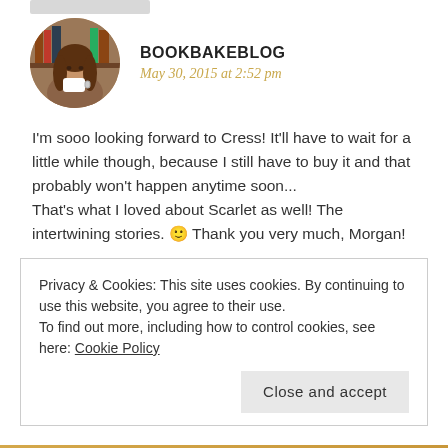[Figure (photo): Circular avatar photo of a woman with long brown hair drinking from a white mug, with bookshelves in the background]
BOOKBAKEBLOG
May 30, 2015 at 2:52 pm
I'm sooo looking forward to Cress! It'll have to wait for a little while though, because I still have to buy it and that probably won't happen anytime soon...
That's what I loved about Scarlet as well! The intertwining stories. 🙂 Thank you very much, Morgan!
Privacy & Cookies: This site uses cookies. By continuing to use this website, you agree to their use.
To find out more, including how to control cookies, see here: Cookie Policy